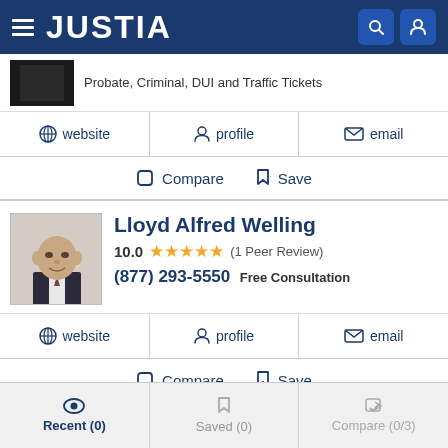JUSTIA
Probate, Criminal, DUI and Traffic Tickets
website | profile | email
Compare | Save
Lloyd Alfred Welling
10.0 ★★★★★ (1 Peer Review)
(877) 293-5550 Free Consultation
website | profile | email
Compare | Save
Recent (0) | Saved (0) | Compare (0/3)